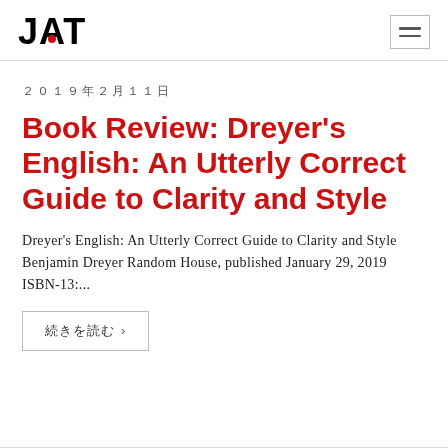JAT
2019年2月11日
Book Review: Dreyer's English: An Utterly Correct Guide to Clarity and Style
Dreyer's English: An Utterly Correct Guide to Clarity and Style Benjamin Dreyer Random House, published January 29, 2019 ISBN-13:...
続きを読む >